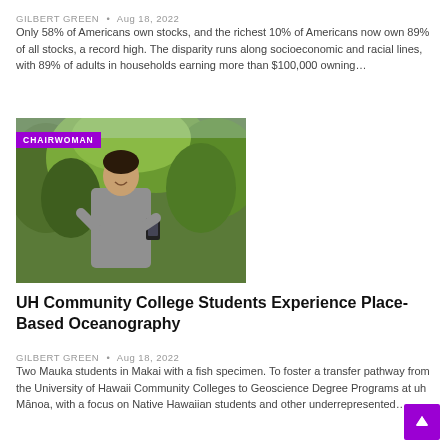GILBERT GREEN  •  Aug 18, 2022
Only 58% of Americans own stocks, and the richest 10% of Americans now own 89% of all stocks, a record high. The disparity runs along socioeconomic and racial lines, with 89% of adults in households earning more than $100,000 owning…
[Figure (photo): Person smiling outdoors holding a device, with green foliage in background. Purple 'CHAIRWOMAN' badge overlaid on top-left.]
UH Community College Students Experience Place-Based Oceanography
GILBERT GREEN  •  Aug 18, 2022
Two Mauka students in Makai with a fish specimen. To foster a transfer pathway from the University of Hawaii Community Colleges to Geoscience Degree Programs at uh Mānoa, with a focus on Native Hawaiian students and other underrepresented…